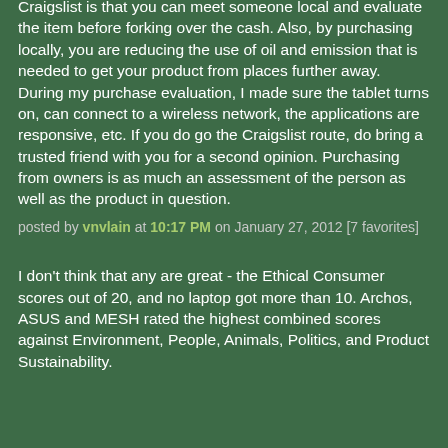Craigslist is that you can meet someone local and evaluate the item before forking over the cash. Also, by purchasing locally, you are reducing the use of oil and emission that is needed to get your product from places further away. During my purchase evaluation, I made sure the tablet turns on, can connect to a wireless network, the applications are responsive, etc. If you do go the Craigslist route, do bring a trusted friend with you for a second opinion. Purchasing from owners is as much an assessment of the person as well as the product in question.
posted by vnvlain at 10:17 PM on January 27, 2012 [7 favorites]
I don't think that any are great - the Ethical Consumer scores out of 20, and no laptop got more than 10. Archos, ASUS and MESH rated the highest combined scores against Environment, People, Animals, Politics, and Product Sustainability.